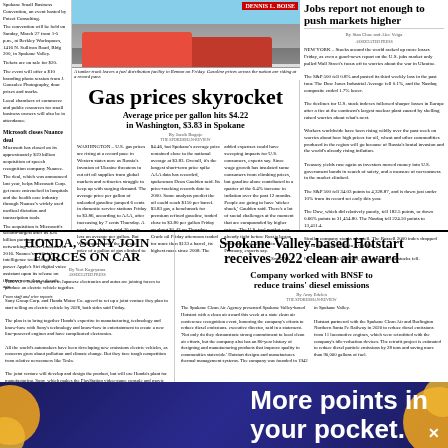Spokane Small Business Convention, an event hosted by Poteet Consulting. The convention will be held on Sunday, March 27 from 1-5 p.m., at Berkley Workspaces, 1416 N. Sullivan Road, Bldg 200, in Spokane Valley. Tickets are on sale for $20. The event will offer a $10 branding photo session from J. Gonzalez Photography, door prizes and marks. Local chambers of commerce and public resources for small business owners will also be in attendance.
Microsoft closes Nuance deal
Microsoft has closed on its approximately $19 billion acquisition of speech recognition company Nuance. The deal, which was announced last year, helps Microsoft Corp. get more entrenched in hospitals and the health care industry through Nuance's widely used medical dictation and transcription tools. The acquisition is Microsoft's second-largest after its $26 billion purchase of career networking service LinkedIn in 2016. Nuance's artificial intelligence technology helped power Apple's Siri digital voice assistant upon its release on iPhones more than a decade ago.
[Figure (photo): A tanker truck leaves a fuel distribution facility in Renton on Friday. Gasoline prices across the nation are rising at a record pace.]
A tanker truck leaves a fuel distribution facility in Renton on Friday. Gasoline prices across the nation are riding at a record pace.
Gas prices skyrocket
Average price per gallon hits $4.22 in Washington, $3.83 in Spokane
By Jacob Bogaje
WASHINGTON – U.S. gas prices are rising at a record pace in Western states now as Russia's invasion of Ukraine threatens to cut off oil supplies from global markets and refineries struggle to keep up with surging demand. The average price per gallon of unleaded gasoline jumped 6 cents in domestic service stations Friday to $3.86, according to AAA, after increasing by 7 cents Thursday. A week ago, drivers paid 20 cents less on average per gallon. But Washington state, the average price of a gallon of gas climbed to $4.46, but Spokane's average price remained close to the national average at $3.83. Overall, it's the largest short-term price spike AAA data has recorded, spokesman Deon Gaulden said. Its price-tracking records date to 2000. Some analysts predict the oil could reach $150 per barrel. $3.83 gas, a benchmark for premium refined gasoline, traded close to $3.80 per gallon Friday up about $1.43 on Thursday. Crude oil Friday afternoon traded for more than $133 a barrel, its highest mark since 2008. The added expenses could have sweeping impacts for U.S. consumers, experts say. Since wage growth has insulated some consumers from climbing prices, but gasoline alone contributed to a quarter of the 6.4% increase in inflation over the past 12 months, pushing oil prices lower signaling effects. As diesel prices increase, so does the cost of shipping goods through the country's already strained supply chains. People are going to have 'sticker shock,' Gaulden said. 'Even if they can purchase more because wages have increased, you also have to think about how the pandemic for a lot of American has made them more fragile than they ever have been. There's a lot of social challenges at the moment that are compounded by higher prices.' The U.S. fuel market was already tight before Russia began its invasion of Ukraine in late February, experts say, as pandemic restrictions in many states expired and consumers.
See GAS, 7
Jobs report not enough to push markets higher
By Stan Choe and Alec Veiga
NEW YORK – Stocks around the world racked up more losses Friday, as even a good-news report on the U.S. jobs market only pulled Wall Street's focus off to worries about the war in Ukraine. The S&P 500 fell 0.8% and posted its third weekly loss in the past four. The Dow Jones Industrial Average fell 0.1%, and the Nasdaq composite ended 1.7% lower. The declines for U.S. stock indexes followed sharper losses in Europe after a fire at the continent's largest nuclear plant raised fears about radiation drifting into the air. Workers worldwide have being loudly vocal over the past week on worries about how high prices for oil, wheat and other commodities produced in the region will go because of Russia's brutal invasion and the world's steady rising inflation. Treasury yields rose again as investors moved money into U.S. government bonds in search of safety, and a measure of nervousness in the market climbed. The S&P 500 fell 34.03 points to 4,328.87, and is down just under 10% from its record set early this year. The Dow, which did relatively poorly, fell 182 points, or down 0.5% points to 3,14580. The Nasdaq fell 224.50 points to 13,411.4. Similar company stocks also fell. The Russell 2000 index dropped 11.14 points, or 1.6%, to 2,000.00. In the benchmark S&P 500, more than 60% of stocks fell.
HONDA, SONY JOIN FORCES ON CAR
By Yuri Kageyama
TOKYO – Two big names in Japanese electronics and autos are joining forces to produce an electric vehicle together. Sony Group Corp. and Honda Motor Co. agreed to set up a joint venture they plan to start selling an electric vehicle by 2026, both sides said Friday. The plan is to bring together Honda's expertise in manufacturing, technology and know-how with Sony's technology and know-how in entertainment to create a new line-powered engines and have complicated electronics. All the world's automakers have been developing new emissions electric vehicles, as concerns grow about pollution and climate change. But they face tough competition from relative newcomers like Tesla. The joint venture will develop and design the product, but will use Honda's plant for manufacturing. Sony, which makes the PlayStation video-game console and movie studio and music label.
Spokane Valley-based Hotstart receives 2022 clean air award
Company worked with BNSF to reduce trains' diesel emissions
By Amy Edelen
The Spokane Clean Air Agency presented Spokane Valley-based Hotstart with a clean air award this week at a state clean air conference recognition event, honoring the company's efforts to reduce diesel emissions. executive director, said in a statement. 'Not only do they demonstrate strong commitment to local clean air efforts, but the company also has an 80-year history of designing and manufacturing products that improve quality in communities statewide.' Hotstart designs and manufactures thermal management systems. The company was founded in 1942 in Spokane Valley. Hotstart partnered with the Spokane Clean Air and Burlington Northern Santa Fe Railway in 2020 to reduce diesel emissions from 11 locomotive engines, which were retrofitted with the company's idle-reduction devices. The retrofit project is estimated to reduce diesel particle emissions by 28 tons and saving more than 90,000 gallons of fuel.
[Figure (illustration): Advertisement banner: More points in your pocket. Blue background with orange swirl design elements.]